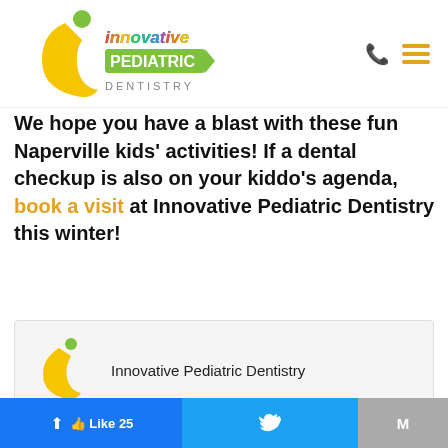Innovative Pediatric Dentistry - logo and navigation
We hope you have a blast with these fun Naperville kids' activities! If a dental checkup is also on your kiddo's agenda, book a visit at Innovative Pediatric Dentistry this winter!
[Figure (logo): Innovative Pediatric Dentistry logo with yellow crescent and green dot, and company name text]
SHARE
[Figure (screenshot): Facebook Like button showing 25 likes, Twitter share button, Gmail share button at bottom of page]